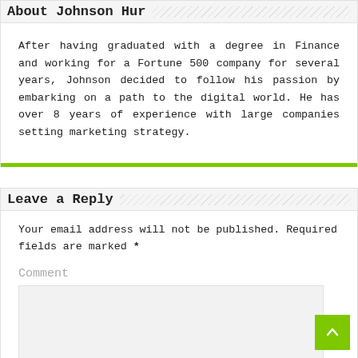About Johnson Hur
After having graduated with a degree in Finance and working for a Fortune 500 company for several years, Johnson decided to follow his passion by embarking on a path to the digital world. He has over 8 years of experience with large companies setting marketing strategy.
Leave a Reply
Your email address will not be published. Required fields are marked *
Comment